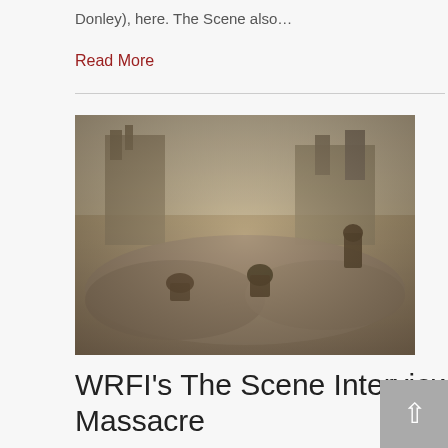Donley), here. The Scene also…
Read More
[Figure (photo): Historical black and white photograph showing rubble and ruins of destroyed buildings, with several figures standing or working among the debris. Likely related to the Tulsa Race Massacre.]
WRFI's The Scene Interviews Eric Miller, Tulsa Race Massacre